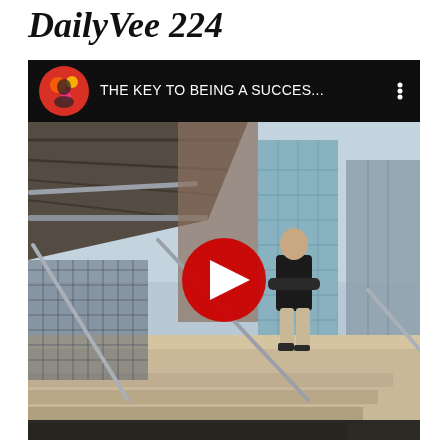DailyVee 224
[Figure (screenshot): YouTube video embed showing 'THE KEY TO BEING A SUCCES...' with a channel avatar on the left, three-dot menu on the right, and a thumbnail image of a man walking down outdoor stairs next to urban buildings with a red YouTube play button overlay in the center.]